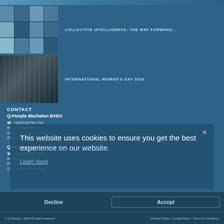[Figure (photo): Partial top image cropped from top of page, blue-toned]
[Figure (photo): Mosaic of video call participants in a grid layout]
COLLECTIVE INTELLIGENCE: THE WAY FORWARD...
[Figure (photo): Industrial/workshop black and white photograph]
INTERNATIONAL WOMEN'S DAY 2020
CONTACT
Q-People Mechelen BVBA
+32(0)15/794.794
info@qpeople.be
Graaf Van Egmontstraat 15/4
2800 Mechelen
Q-People Louvain La Neuve
+32(0)15/794.794
info@qpeople.be
Place de l'Université 16
1348 Louvain-la-Neuve
This website uses cookies to ensure you get the best experience on our website.
Learn more
Decline
Accept
© Q-People - 2022 All rights reserved   Privacy Policy - Cookie Policy - Terms & Conditions